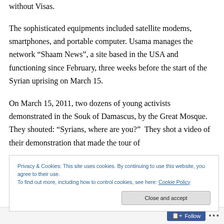without Visas.
The sophisticated equipments included satellite modems, smartphones, and portable computer. Usama manages the network “Shaam News”, a site based in the USA and functioning since February, three weeks before the start of the Syrian uprising on March 15.
On March 15, 2011, two dozens of young activists demonstrated in the Souk of Damascus, by the Great Mosque.  They shouted: “Syrians, where are you?”  They shot a video of their demonstration that made the tour of
Privacy & Cookies: This site uses cookies. By continuing to use this website, you agree to their use.
To find out more, including how to control cookies, see here: Cookie Policy
Close and accept
Follow ···